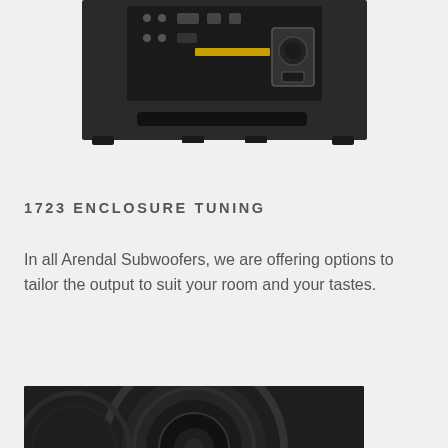[Figure (photo): Back view of a black Arendal subwoofer speaker showing the rear panel with controls, connectors, and bass port slot, on a light gray background]
1723 ENCLOSURE TUNING
In all Arendal Subwoofers, we are offering options to tailor the output to suit your room and your tastes.
[Figure (photo): Close-up partial view of a subwoofer driver cone (woofer) showing the dark speaker cone surface]